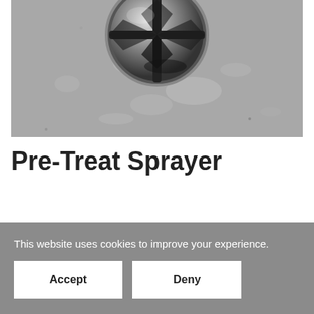[Figure (photo): Close-up macro photograph of a metal screw or bolt head on a gray concrete/stone surface. The screw has a Phillips/cross-head drive and appears to be chrome or steel colored.]
Pre-Treat Sprayer
This website uses cookies to improve your experience.